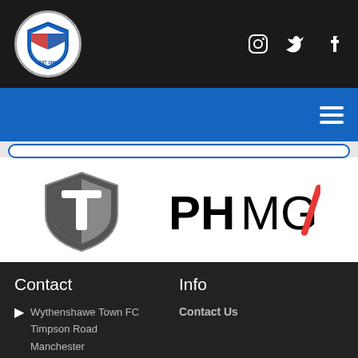[Figure (logo): Wythenshawe Town FC circular club badge/crest on dark header bar, with social media icons (Instagram, Twitter, Facebook) on right]
[Figure (screenshot): Blue navigation bar with hamburger menu icon on right, and a rounded search bar below]
[Figure (logo): Two sponsor logos: left is a shield/crest with T letter mark in grey tones; right is PHMG/ logo in black and red]
Contact
Info
Wythenshawe Town FC
Timpson Road
Manchester
Contact Us